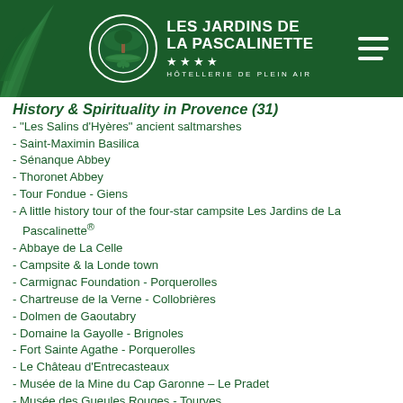Les Jardins de La Pascalinette — Hôtellerie de Plein Air
History & Spirituality in Provence (31)
"Les Salins d'Hyères" ancient saltmarshes
Saint-Maximin Basilica
Sénanque Abbey
Thoronet Abbey
Tour Fondue - Giens
A little history tour of the four-star campsite Les Jardins de La Pascalinette®
Abbaye de La Celle
Campsite & la Londe town
Carmignac Foundation - Porquerolles
Chartreuse de la Verne - Collobrières
Dolmen de Gaoutabry
Domaine la Gayolle - Brignoles
Fort Sainte Agathe - Porquerolles
Le Château d'Entrecasteaux
Musée de la Mine du Cap Garonne – Le Pradet
Musée des Gueules Rouges - Tourves
Musée du vêtement provençal - Solliès-Ville
Musées proches du camping